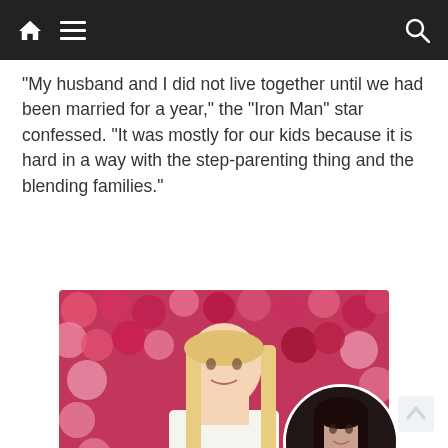Navigation bar with home, menu, and search icons
“My husband and I did not live together until we had been married for a year,” the “Iron Man” star confessed. “It was mostly for our kids because it is hard in a way with the step-parenting thing and the blending families.”
[Figure (photo): A blonde woman smiling in front of a pink and red rose wall background, with a circular inset photo of a dark-haired woman in the bottom right corner.]